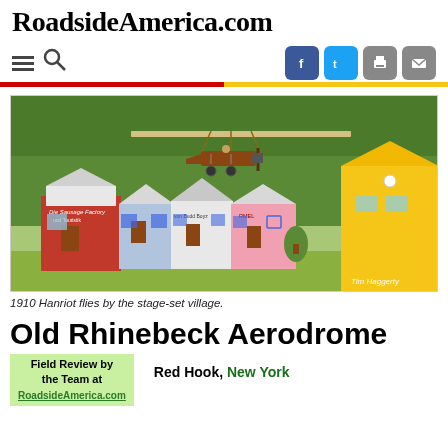RoadsideAmerica.com
[Figure (photo): A 1910 Hanriot biplane flying over a stage-set village with colorful small buildings including 'Die Sausage Factory' and other structures, with green trees in background. Photo credit: Tim Haggerty]
1910 Hanriot flies by the stage-set village.
Old Rhinebeck Aerodrome
Field Review by the Team at RoadsideAmerica.com
Red Hook, New York